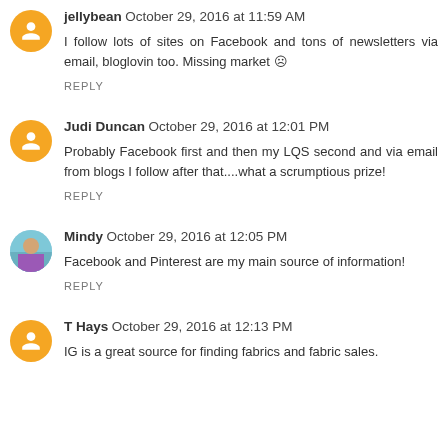jellybean  October 29, 2016 at 11:59 AM
I follow lots of sites on Facebook and tons of newsletters via email, bloglovin too. Missing market ☹
REPLY
Judi Duncan  October 29, 2016 at 12:01 PM
Probably Facebook first and then my LQS second and via email from blogs I follow after that....what a scrumptious prize!
REPLY
Mindy  October 29, 2016 at 12:05 PM
Facebook and Pinterest are my main source of information!
REPLY
T Hays  October 29, 2016 at 12:13 PM
IG is a great source for finding fabrics and fabric sales.